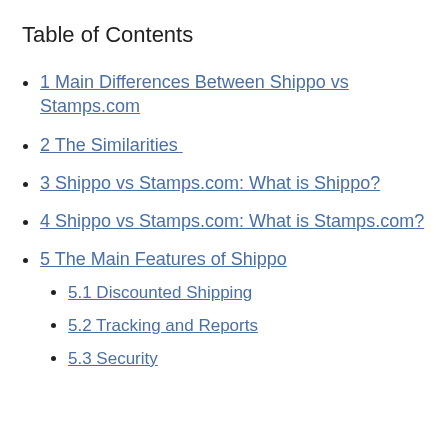Table of Contents
1 Main Differences Between Shippo vs Stamps.com
2 The Similarities
3 Shippo vs Stamps.com: What is Shippo?
4 Shippo vs Stamps.com: What is Stamps.com?
5 The Main Features of Shippo
5.1 Discounted Shipping
5.2 Tracking and Reports
5.3 Security